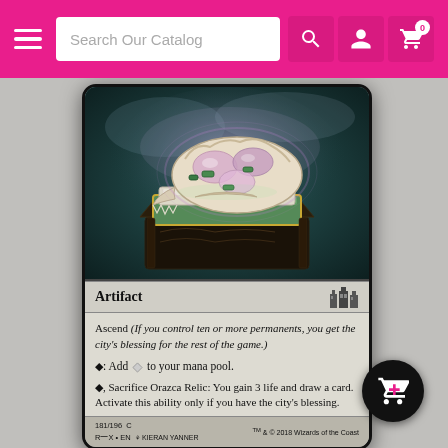Search Our Catalog
[Figure (illustration): Magic: The Gathering card 'Orazca Relic' from Rivals of Ixalan (RIX). Shows a decorated dinosaur skull resting on an ornate green stone pedestal, with mystical purple glow and smoke. Card type: Artifact. Text: Ascend (If you control ten or more permanents, you get the city's blessing for the rest of the game.) T: Add one colorless mana to your mana pool. T, Sacrifice Orazca Relic: You gain 3 life and draw a card. Activate this ability only if you have the city's blessing. Collector number 181/196 C, RIX, EN, art by Kieran Yanner. TM & C 2018 Wizards of the Coast.]